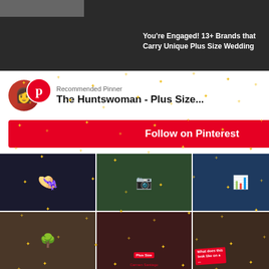[Figure (screenshot): Dark webpage background with partial thumbnail image at top left]
You're Engaged! 13+ Brands that Carry Unique Plus Size Wedding
ggers to Follow
[Figure (screenshot): Pinterest Recommended Pinner popup overlay showing 'The Huntswoman - Plus Size...' with Follow on Pinterest button and grid of plus size fashion images]
125
85
83
Fashion
52
Look Book
30
Travel
34